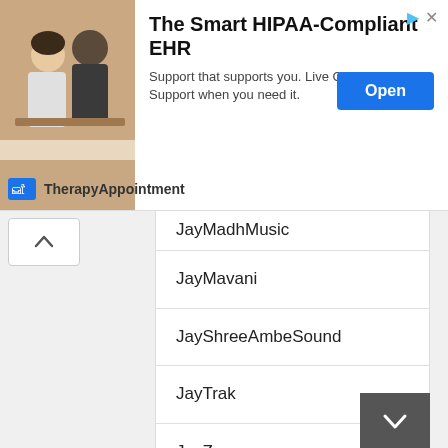[Figure (screenshot): Advertisement banner for TherapyAppointment: 'The Smart HIPAA-Compliant EHR' with photo of two people in a therapy session, Open button, and brand logo.]
JayMadhMusic
JayMavani
JayShreeAmbeSound
JayTrak
JayZ
JazzyB
JeetGannguli
JeetPandey